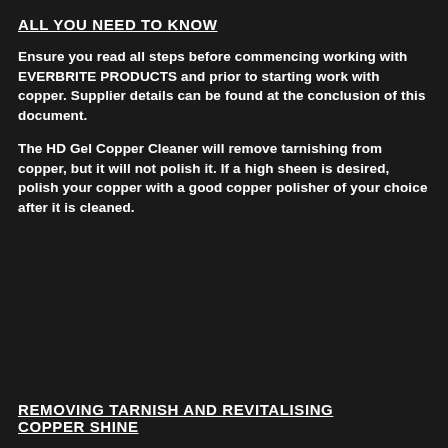ALL YOU NEED TO KNOW
Ensure you read all steps before commencing working with EVERBRITE PRODUCTS and prior to starting work with copper. Supplier details can be found at the conclusion of this document.
The HD Gel Copper Cleaner will remove tarnishing from copper, but it will not polish it. If a high sheen is desired, polish your copper with a good copper polisher of your choice after it is cleaned.
REMOVING TARNISH AND REVITALISING COPPER SHINE